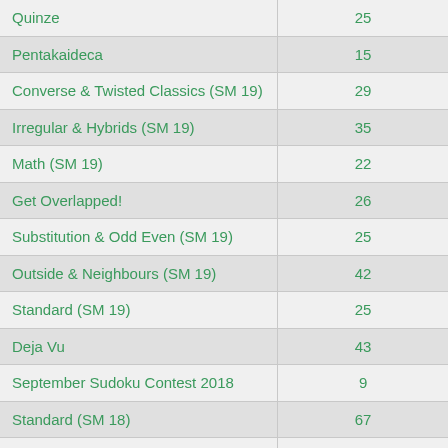| Name | Count |
| --- | --- |
| Quinze | 25 |
| Pentakaideca | 15 |
| Converse & Twisted Classics (SM 19) | 29 |
| Irregular & Hybrids (SM 19) | 35 |
| Math (SM 19) | 22 |
| Get Overlapped! | 26 |
| Substitution & Odd Even (SM 19) | 25 |
| Outside & Neighbours (SM 19) | 42 |
| Standard (SM 19) | 25 |
| Deja Vu | 43 |
| September Sudoku Contest 2018 | 9 |
| Standard (SM 18) | 67 |
| Converse & Twisted Classics (SM 18) | 42 |
| September Sudoku Contest | 25 |